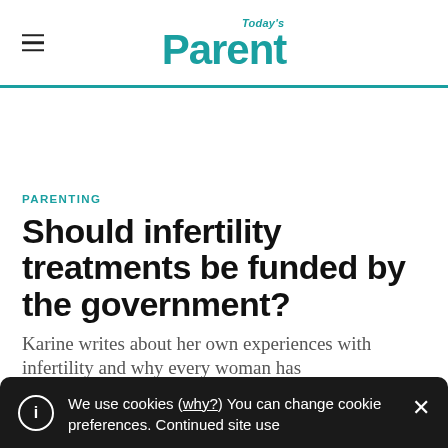Today's Parent
PARENTING
Should infertility treatments be funded by the government?
Karine writes about her own experiences with infertility and why every woman has
We use cookies (why?) You can change cookie preferences. Continued site use